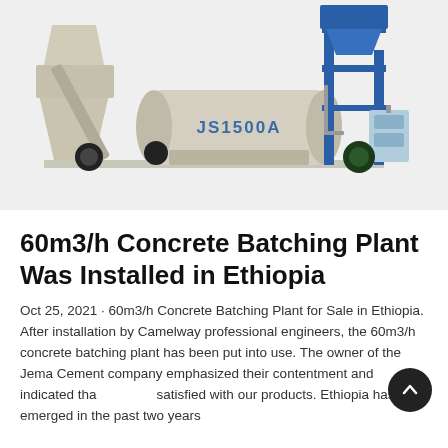[Figure (photo): Photograph of a JS1500A concrete batching plant mixer machine on a light grey background. The machine is cream/beige colored with blue structural framework and components. The drum is labeled JS1500A in blue letters.]
60m3/h Concrete Batching Plant Was Installed in Ethiopia
Oct 25, 2021 · 60m3/h Concrete Batching Plant for Sale in Ethiopia. After installation by Camelway professional engineers, the 60m3/h concrete batching plant has been put into use. The owner of the Jema Cement company emphasized their contentment and indicated that satisfied with our products. Ethiopia has emerged in the past two years